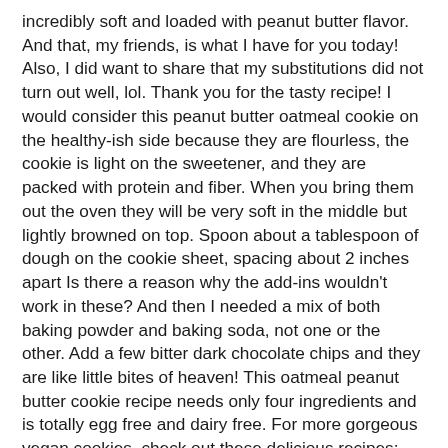incredibly soft and loaded with peanut butter flavor. And that, my friends, is what I have for you today! Also, I did want to share that my substitutions did not turn out well, lol. Thank you for the tasty recipe! I would consider this peanut butter oatmeal cookie on the healthy-ish side because they are flourless, the cookie is light on the sweetener, and they are packed with protein and fiber. When you bring them out the oven they will be very soft in the middle but lightly browned on top. Spoon about a tablespoon of dough on the cookie sheet, spacing about 2 inches apart Is there a reason why the add-ins wouldn't work in these? And then I needed a mix of both baking powder and baking soda, not one or the other. Add a few bitter dark chocolate chips and they are like little bites of heaven! This oatmeal peanut butter cookie recipe needs only four ingredients and is totally egg free and dairy free. For more gorgeous vegan cookies, check out these delicious recipes: Sign up to our email list for a gorgeous dinner recipes ebook containing 10 great recipes (totally free!) Every recipe collection needs a great peanut butter recipe. I